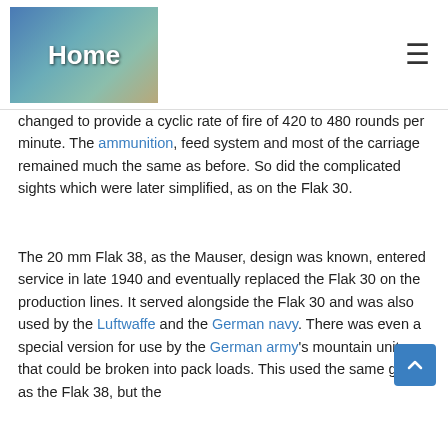Home
changed to provide a cyclic rate of fire of 420 to 480 rounds per minute. The ammunition, feed system and most of the carriage remained much the same as before. So did the complicated sights which were later simplified, as on the Flak 30.
The 20 mm Flak 38, as the Mauser, design was known, entered service in late 1940 and eventually replaced the Flak 30 on the production lines. It served alongside the Flak 30 and was also used by the Luftwaffe and the German navy. There was even a special version for use by the German army's mountain units that could be broken into pack loads. This used the same gun as the Flak 38, but the